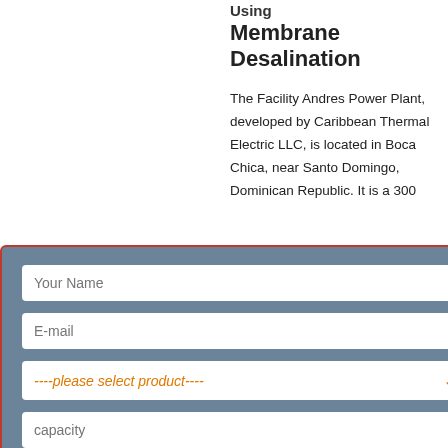Membrane Desalination
The Facility Andres Power Plant, developed by Caribbean Thermal Electric LLC, is located in Boca Chica, near Santo Domingo, Dominican Republic. It is a 300
ew More
[Figure (photo): Industrial boiler room with blue cylindrical tanks and piping]
awesome 10 year warranty.
System Protection. Your PlumbAgent installer will install a new central heating system filter as part of his installation and